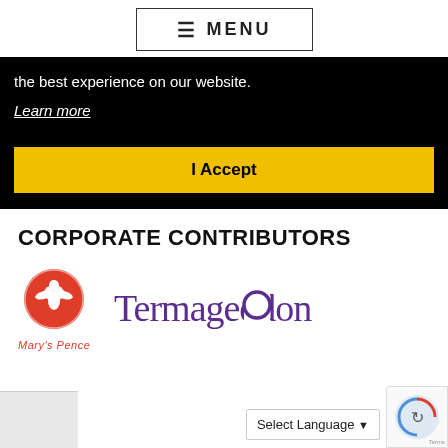☰ MENU
the best experience on our website.
Learn more
I Accept
CORPORATE CONTRIBUTORS
[Figure (logo): Mary's Pence logo — red circular emblem with a dove/figure, text "Mary's Pence" in red italic below]
[Figure (logo): Termageddon logo — purple serif wordmark with a circle replacing the letter 'o']
Select Language
[Figure (logo): reCAPTCHA badge — partial view, blue/grey icon]